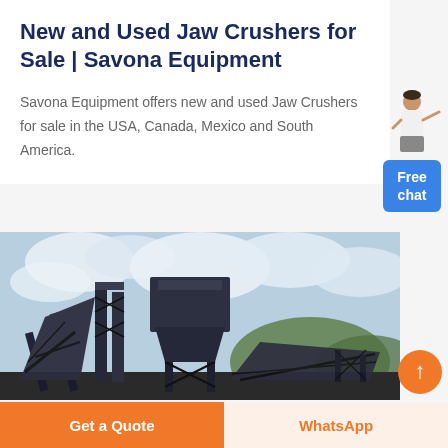New and Used Jaw Crushers for Sale | Savona Equipment
Savona Equipment offers new and used Jaw Crushers for sale in the USA, Canada, Mexico and South America.
[Figure (illustration): Chat widget with illustrated woman figure and blue Free chat button]
[Figure (photo): Industrial jaw crusher equipment with conveyor belts and metallic structures against a cloudy sky and green hills]
Get a Quote
WhatsApp